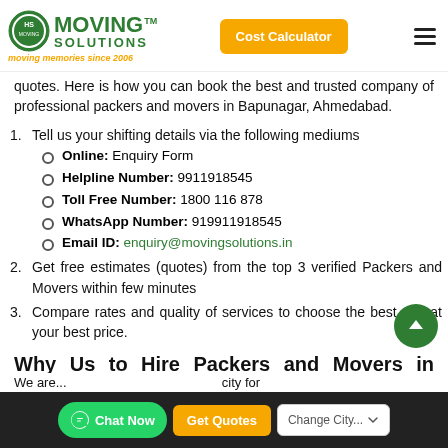Moving Solutions — Cost Calculator
quotes. Here is how you can book the best and trusted company of professional packers and movers in Bapunagar, Ahmedabad.
1. Tell us your shifting details via the following mediums
Online: Enquiry Form
Helpline Number: 9911918545
Toll Free Number: 1800 116 878
WhatsApp Number: 919911918545
Email ID: enquiry@movingsolutions.in
2. Get free estimates (quotes) from the top 3 verified Packers and Movers within few minutes
3. Compare rates and quality of services to choose the best one at your best price.
Why Us to Hire Packers and Movers in Bapunagar, Ahmedabad
Chat Now | Get Quotes | Change City...